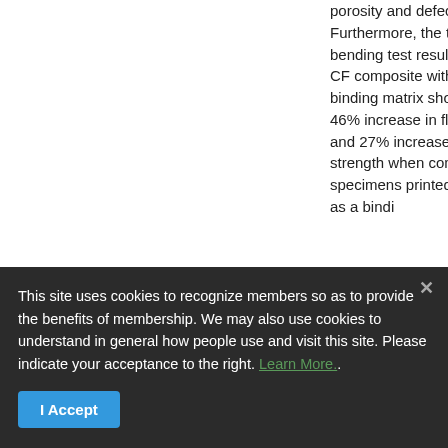porosity and defect volume. Furthermore, the three-point bending test results of 3D printed CF composite with PA6.CF as a binding matrix showed approx. 46% increase in flexural stiffness and 27% increase in flexural strength when compared to CFC specimens printed with neat PA6 as a bindi...
This site uses cookies to recognize members so as to provide the benefits of membership. We may also use cookies to understand in general how people use and visit this site. Please indicate your acceptance to the right. Learn More..